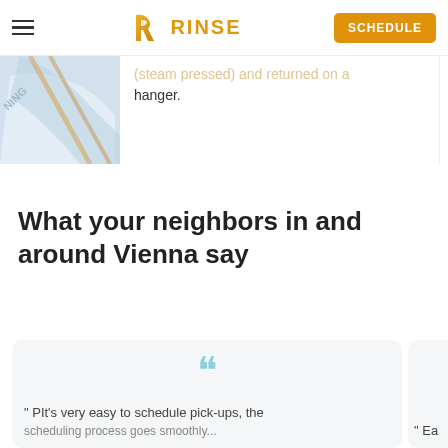RINSE — Schedule button navigation
[Figure (screenshot): Partially visible image of folded white fabric/clothing on a hanger with bamboo accents]
(steam pressed) and returned on a hanger.
What your neighbors in and around Vienna say
" PIt's very easy to schedule pick-ups, the
" Ea